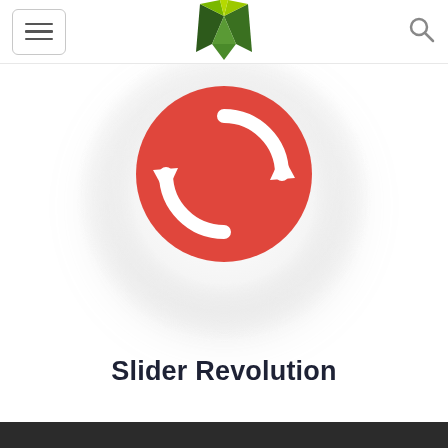[Figure (logo): Navigation header with hamburger menu button on left, geometric V-shape logo in center (green and yellow-green angular gem shape), and search icon on right]
[Figure (illustration): Large circular white glowing disc with a red circle containing two white refresh/sync arrows (clockwise rotation icon) in the center. The white disc has a soft drop shadow giving a 3D elevation effect.]
Slider Revolution
[Figure (other): Dark bottom footer bar]